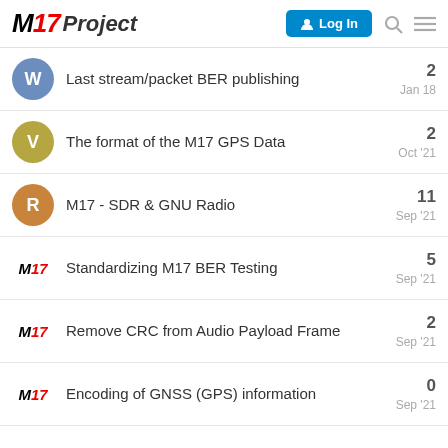M17 Project — Log In
Last stream/packet BER publishing — 2 replies — Jan 18
The format of the M17 GPS Data — 2 replies — Oct '21
M17 - SDR & GNU Radio — 11 replies — Sep '21
Standardizing M17 BER Testing — 5 replies — Sep '21
Remove CRC from Audio Payload Frame — 2 replies — Sep '21
Encoding of GNSS (GPS) information — 0 replies — Sep '21